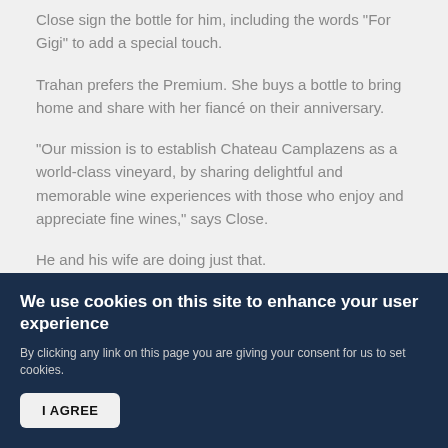Close sign the bottle for him, including the words "For Gigi" to add a special touch.
Trahan prefers the Premium. She buys a bottle to bring home and share with her fiancé on their anniversary.
"Our mission is to establish Chateau Camplazens as a world-class vineyard, by sharing delightful and memorable wine experiences with those who enjoy and appreciate fine wines," says Close.
He and his wife are doing just that.
Read More
We use cookies on this site to enhance your user experience
By clicking any link on this page you are giving your consent for us to set cookies.
I AGREE